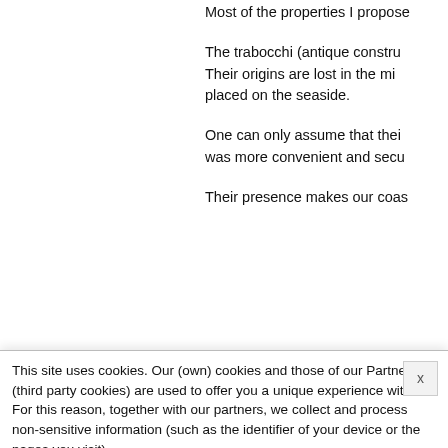Most of the properties I propose
The trabocchi (antique constru... Their origins are lost in the mi... placed on the seaside.
One can only assume that thei... was more convenient and secu...
Their presence makes our coas...
This site uses cookies. Our (own) cookies and those of our Partners (third party cookies) are used to offer you a unique experience with us. For this reason, together with our partners, we collect and process non-sensitive information (such as the identifier of your device or the pages you visit).
At any time you can delete, modify or verify the information you share in Cookie preference or in our Cookie Policy and Privacy Policy.
Accept all
Decline all
Customize